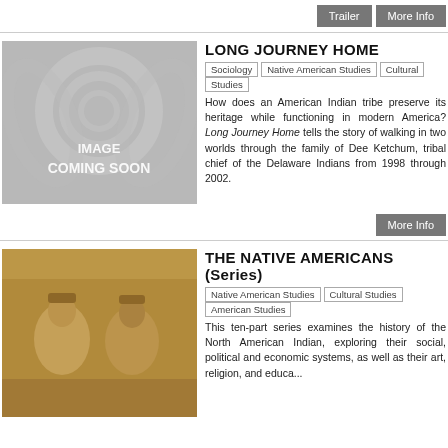Trailer | More Info
LONG JOURNEY HOME
Sociology | Native American Studies | Cultural Studies
How does an American Indian tribe preserve its heritage while functioning in modern America? Long Journey Home tells the story of walking in two worlds through the family of Dee Ketchum, tribal chief of the Delaware Indians from 1998 through 2002.
More Info
THE NATIVE AMERICANS (Series)
Native American Studies | Cultural Studies | American Studies
This ten-part series examines the history of the North American Indian, exploring their social, political and economic systems, as well as their art, religion, and educa...